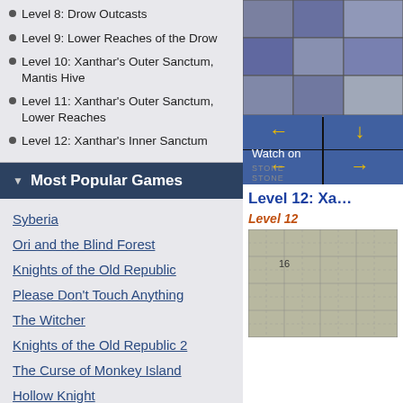Level 8: Drow Outcasts
Level 9: Lower Reaches of the Drow
Level 10: Xanthar's Outer Sanctum, Mantis Hive
Level 11: Xanthar's Outer Sanctum, Lower Reaches
Level 12: Xanthar's Inner Sanctum
Most Popular Games
Syberia
Ori and the Blind Forest
Knights of the Old Republic
Please Don't Touch Anything
The Witcher
Knights of the Old Republic 2
The Curse of Monkey Island
Hollow Knight
[Figure (screenshot): Game screenshot showing a dungeon stone wall with blue tiles and yellow arrow navigation buttons. Text reads 'Watch on' and 'STONE STONE' at bottom.]
Level 12: Xa…
Level 12
[Figure (screenshot): Grid map image showing dungeon level layout with number 16 visible]